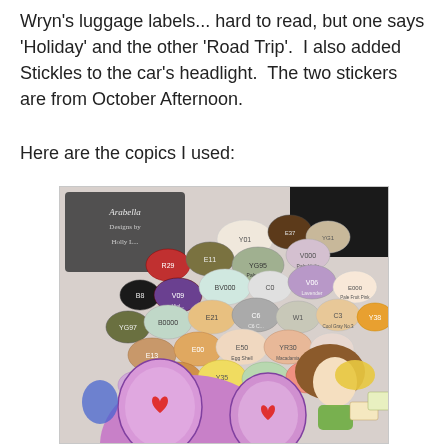Wryn's luggage labels... hard to read, but one says 'Holiday' and the other 'Road Trip'.  I also added Stickles to the car's headlight.  The two stickers are from October Afternoon.
Here are the copics I used:
[Figure (photo): Photograph of a large collection of Copic markers arranged in a pile on top of a cartoon illustration of a girl with big round purple eyes and heart designs. The markers show various codes including Y01, E13, YG95, V09, BV000, C0, V000, E000, YG97, E21, C6, YR30, E50, Y35, R20, YA1, YG1, E23, R24, YG3, C3, Y38, R29, E11, E37 and others. In the background is a chalkboard-style sign reading 'Arabella' with decorative borders.]